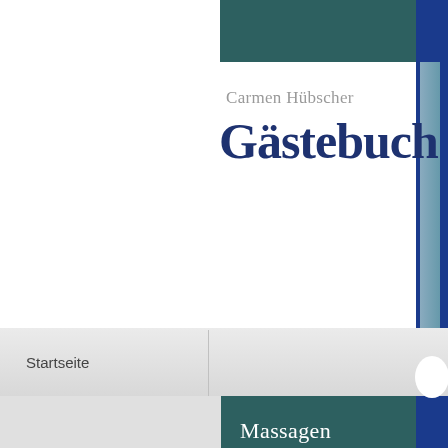Carmen Hübscher
Gästebuch
Startseite
Massagen